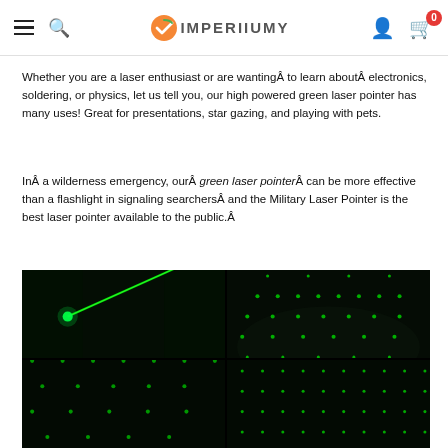IMPERIIUMY — navigation header with hamburger menu, search, logo, user icon, cart (0)
Whether you are a laser enthusiast or are wantingÂ to learn aboutÂ electronics, soldering, or physics, let us tell you, our high powered green laser pointer has many uses! Great for presentations, star gazing, and playing with pets.
InÂ a wilderness emergency, ourÂ green laser pointerÂ can be more effective than a flashlight in signaling searchersÂ and the Military Laser Pointer is the best laser pointer available to the public.Â
[Figure (photo): Four-panel nighttime photo collage showing green laser pointer effects: top-left shows a bright green laser beam cutting diagonally through dark trees, top-right shows a green pattern grid projected on a path/walkway at night, bottom-left shows green dot pattern on ground/foliage, bottom-right shows a fine green dot matrix pattern]